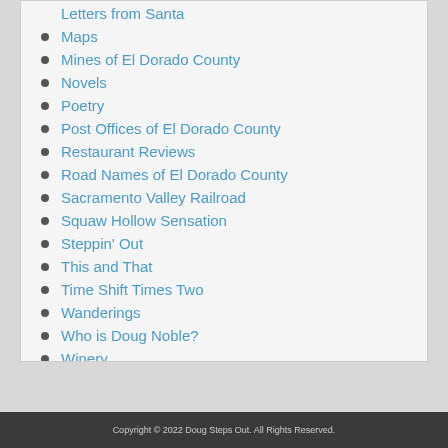Letters from Santa
Maps
Mines of El Dorado County
Novels
Poetry
Post Offices of El Dorado County
Restaurant Reviews
Road Names of El Dorado County
Sacramento Valley Railroad
Squaw Hollow Sensation
Steppin' Out
This and That
Time Shift Times Two
Wanderings
Who is Doug Noble?
Winery
Copyright © 2022 Doug Steps Out. All Rights Reserved.